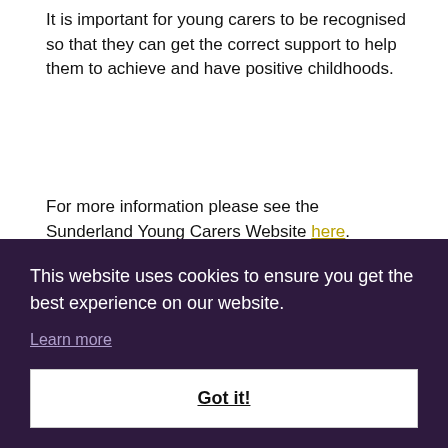It is important for young carers to be recognised so that they can get the correct support to help them to achieve and have positive childhoods.
For more information please see the Sunderland Young Carers Website here.
Operation Encompass
Castle View Enterprise Academy is one of a number of schools in the area that will be taking part in a new project that aims to provide additional support to those young people who have experienced domestic abuse. The project is called Operation Encompass and it means that those who have been affected by a domestic incident will have support available to them in school the next day. Sunderland is currently one of many local authorities who have already implemented this. It has been shown to be hugely beneficial to the persons affected.
This website uses cookies to ensure you get the best experience on our website.
Learn more
Got it!